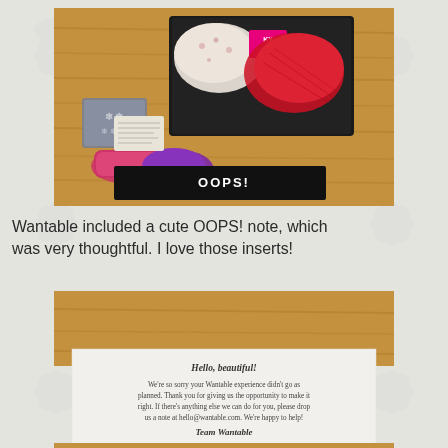[Figure (photo): Top-down view of an open black subscription box on a wooden surface, containing pink and red lace lingerie, patterned socks with snowflakes, and a black OOPS! card insert in front.]
Wantable included a cute OOPS! note, which was very thoughtful. I love those inserts!
[Figure (photo): Close-up photo of a white paper insert card on a wooden surface reading: Hello, beautiful! We're so sorry your Wantable experience didn't go as planned. Thank you for giving us the opportunity to make it right. If there's anything else we can do for you, please drop us a note at hello@wantable.com. We're happy to help! Team Wantable]